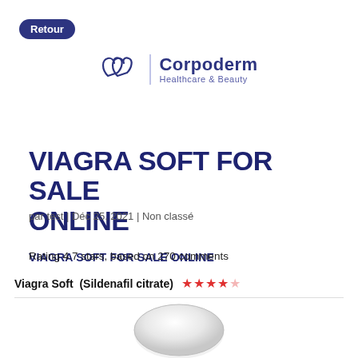Retour
[Figure (logo): Corpoderm Healthcare & Beauty logo with stylized heart/leaf icon and vertical divider]
VIAGRA SOFT FOR SALE ONLINE
par test | Déc 25, 2021 | Non classé
VIAGRA SOFT FOR SALE ONLINE
Rating 4.7 stars, based on 270 comments
Viagra Soft  (Sildenafil citrate) ★★★★☆
[Figure (photo): White/light gray oval pill tablet shown from above]